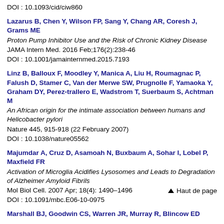DOI : 10.1093/cid/ciw860
Lazarus B, Chen Y, Wilson FP, Sang Y, Chang AR, Coresh J, Grams ME
Proton Pump Inhibitor Use and the Risk of Chronic Kidney Disease
JAMA Intern Med. 2016 Feb;176(2):238-46
DOI : 10.1001/jamainternmed.2015.7193
Linz B, Balloux F, Moodley Y, Manica A, Liu H, Roumagnac P, Falush D, Stamer C, Van der Merwe SW, Prugnolle F, Yamaoka Y, Graham DY, Perez-trallero E, Wadstrom T, Suerbaum S, Achtman M
An African origin for the intimate association between humans and Helicobacter pylori
Nature 445, 915-918 (22 February 2007)
DOI : 10.1038/nature05562
Majumdar A, Cruz D, Asamoah N, Buxbaum A, Sohar I, Lobel P, Maxfield FR
Activation of Microglia Acidifies Lysosomes and Leads to Degradation of Alzheimer Amyloid Fibrils
Mol Biol Cell. 2007 Apr; 18(4): 1490–1496
DOI : 10.1091/mbc.E06-10-0975
Marshall BJ, Goodwin CS, Warren JR, Murray R, Blincow ED